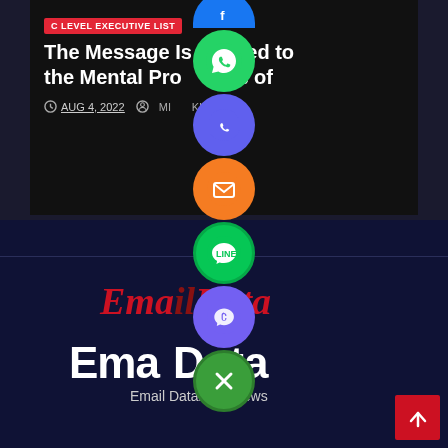[Figure (screenshot): Article card on dark background showing a blog post with red 'C LEVEL EXECUTIVE LIST' tag, title 'The Message Is Related to the Mental Processes of', date AUG 4, 2022 and author name partially obscured by social sharing icons]
The Message Is Related to the Mental Processes of
C LEVEL EXECUTIVE LIST
AUG 4, 2022   MUJAIDIKUL
[Figure (logo): EmailData logo in red italic script style]
[Figure (logo): EmailData logo in large white bold sans-serif]
Email Database News
[Figure (infographic): Vertical stack of social sharing circular icon buttons: Facebook (blue), WhatsApp (green), Phone (blue/purple), Email (orange), LINE (green), Viber (purple), and a green close/X button]